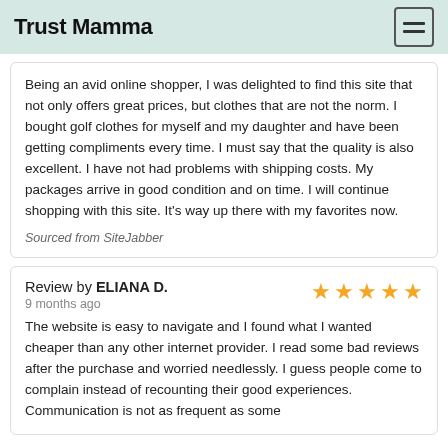Trust Mamma
Being an avid online shopper, I was delighted to find this site that not only offers great prices, but clothes that are not the norm. I bought golf clothes for myself and my daughter and have been getting compliments every time. I must say that the quality is also excellent. I have not had problems with shipping costs. My packages arrive in good condition and on time. I will continue shopping with this site. It's way up there with my favorites now.
Sourced from SiteJabber
Review by ELIANA D.
9 months ago
The website is easy to navigate and I found what I wanted cheaper than any other internet provider. I read some bad reviews after the purchase and worried needlessly. I guess people come to complain instead of recounting their good experiences. Communication is not as frequent as some